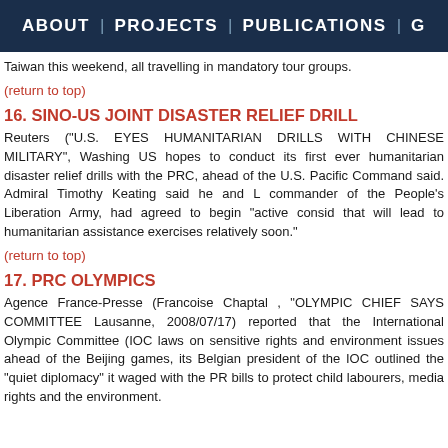ABOUT | PROJECTS | PUBLICATIONS | G
Taiwan this weekend, all travelling in mandatory tour groups.
(return to top)
16. SINO-US JOINT DISASTER RELIEF DRILL
Reuters (“U.S. EYES HUMANITARIAN DRILLS WITH CHINESE MILITARY”, Washington, US hopes to conduct its first ever humanitarian disaster relief drills with the PRC, ahead of the U.S. Pacific Command said. Admiral Timothy Keating said he and L commander of the People’s Liberation Army, had agreed to begin “active consid that will lead to humanitarian assistance exercises relatively soon.”
(return to top)
17. PRC OLYMPICS
Agence France-Presse (Francoise Chaptal , “OLYMPIC CHIEF SAYS COMMITTEE Lausanne, 2008/07/17) reported that the International Olympic Committee (IOC laws on sensitive rights and environment issues ahead of the Beijing games, its Belgian president of the IOC outlined the “quiet diplomacy” it waged with the PR bills to protect child labourers, media rights and the environment.